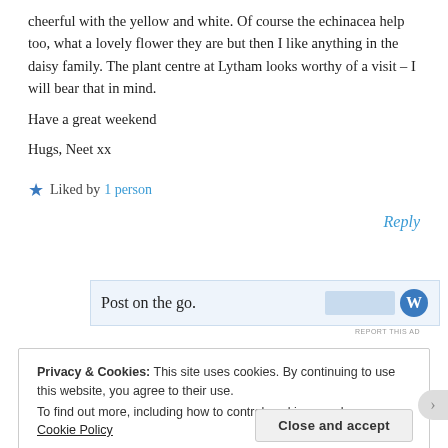cheerful with the yellow and white. Of course the echinacea help too, what a lovely flower they are but then I like anything in the daisy family. The plant centre at Lytham looks worthy of a visit – I will bear that in mind.
Have a great weekend
Hugs, Neet xx
★ Liked by 1 person
Reply
[Figure (screenshot): Advertisement banner with text 'Post on the go.' and a WordPress logo on the right side, on a light blue background.]
REPORT THIS AD
Privacy & Cookies: This site uses cookies. By continuing to use this website, you agree to their use.
To find out more, including how to control cookies, see here: Cookie Policy
Close and accept